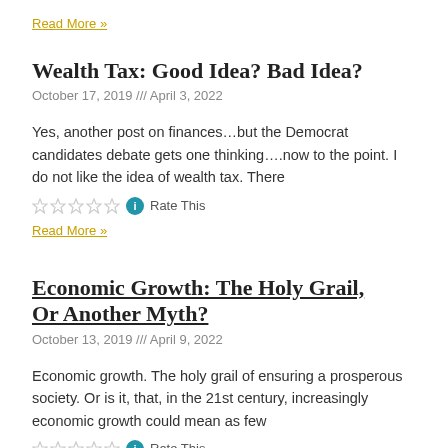Read More »
Wealth Tax: Good Idea? Bad Idea?
October 17, 2019 /// April 3, 2022
Yes, another post on finances…but the Democrat candidates debate gets one thinking….now to the point. I do not like the idea of wealth tax. There
Rate This
Read More »
Economic Growth: The Holy Grail, Or Another Myth?
October 13, 2019 /// April 9, 2022
Economic growth. The holy grail of ensuring a prosperous society. Or is it, that, in the 21st century, increasingly economic growth could mean as few
Rate This